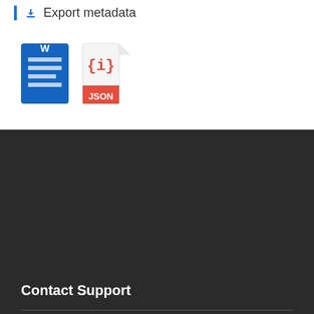Export metadata
[Figure (illustration): Word document icon and JSON file icon side by side]
Contact Support
Northwest Institute of Eco-Environment and Resources, CAS
0931-4967287
poles@itpcas.ac.cn
Links
National Tibetan Plateau Data Center